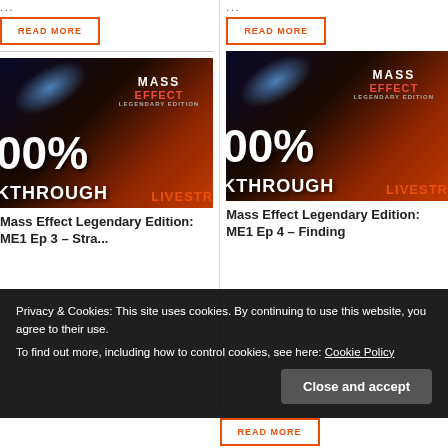...
READ MORE
...
READ MORE
[Figure (screenshot): Mass Effect Legendary Edition game thumbnail with 100% Breakthrough Livestream overlay text, left column]
Mass Effect Legendary Edition: ME1 Ep 3 – Stra...
[Figure (screenshot): Mass Effect Legendary Edition game thumbnail with 100% Breakthrough Livestream overlay text, right column]
Mass Effect Legendary Edition: ME1 Ep 4 – Finding
Privacy & Cookies: This site uses cookies. By continuing to use this website, you agree to their use.
To find out more, including how to control cookies, see here: Cookie Policy
Close and accept
READ MORE